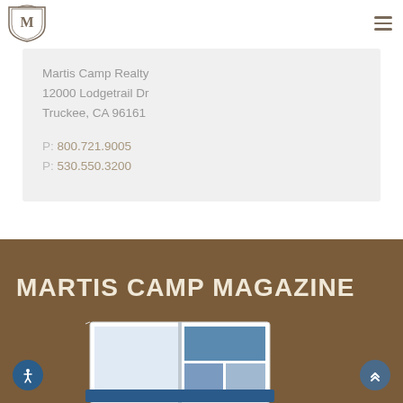[Figure (logo): Martis Camp Realty monogram logo in shield/crest shape with 'M' and 'C' intertwined]
Martis Camp Realty
12000 Lodgetrail Dr
Truckee, CA 96161

P: 800.721.9005
P: 530.550.3200
MARTIS CAMP MAGAZINE
[Figure (photo): Open magazine/brochure showing photos of outdoor scenic views, partially visible at bottom of brown section]